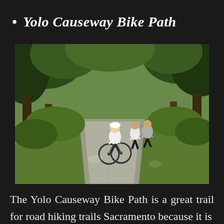Yolo Causeway Bike Path
[Figure (photo): A paved trail through tree-lined parkland with a cyclist in white top and helmet approaching and two joggers walking away from camera.]
The Yolo Causeway Bike Path is a great trail for road hiking trails Sacramento because it is